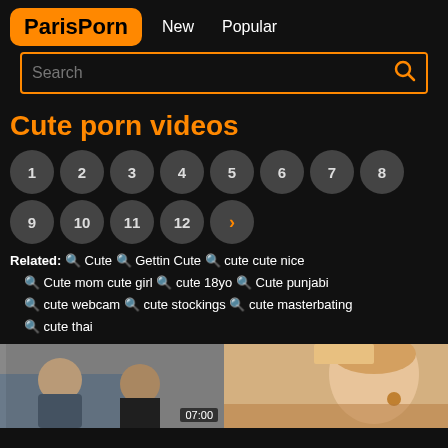ParisPorn   New   Popular
Search
Cute porn videos
1 2 3 4 5 6 7 8 9 10 11 12 >
Related: 🔍 Cute  🔍 Gettin Cute  🔍 cute cute nice  🔍 Cute mom cute girl  🔍 cute 18yo  🔍 Cute punjabi  🔍 cute webcam  🔍 cute stockings  🔍 cute masterbating  🔍 cute thai
[Figure (photo): Video thumbnail showing two people, with duration label 07:00]
[Figure (photo): Video thumbnail showing a blonde woman looking upward]